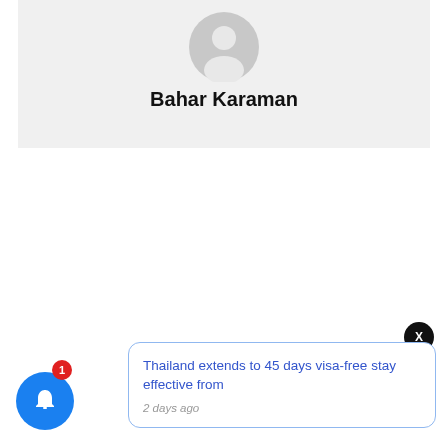[Figure (illustration): Gray default user avatar icon (silhouette of a person) on a light gray background]
Bahar Karaman
[Figure (illustration): Notification popup card with blue border showing a news headline and timestamp, plus a close X button and a blue bell notification button with red badge showing 1]
Thailand extends to 45 days visa-free stay effective from
2 days ago